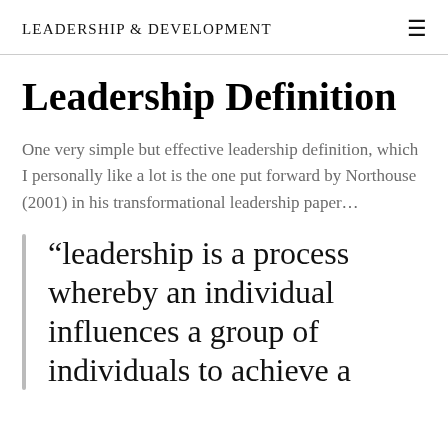Leadership & Development
Leadership Definition
One very simple but effective leadership definition, which I personally like a lot is the one put forward by Northouse (2001) in his transformational leadership paper…
“leadership is a process whereby an individual influences a group of individuals to achieve a